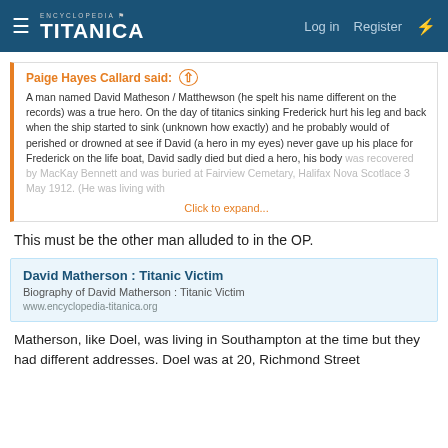Encyclopedia Titanica — Log in  Register
Paige Hayes Callard said: ↑

A man named David Matheson / Matthewson (he spelt his name different on the records) was a true hero. On the day of titanics sinking Frederick hurt his leg and back when the ship started to sink (unknown how exactly) and he probably would of perished or drowned at see if David (a hero in my eyes) never gave up his place for Frederick on the life boat, David sadly died but died a hero, his body was recovered by MacKay Bennett and was buried at Fairview Cemetary, Halifax Nova Scotlace 3 May 1912. (He was living with

Click to expand...
This must be the other man alluded to in the OP.
[Figure (screenshot): Link card: David Matherson : Titanic Victim — Biography of David Matherson : Titanic Victim — www.encyclopedia-titanica.org]
Matherson, like Doel, was living in Southampton at the time but they had different addresses. Doel was at 20, Richmond Street